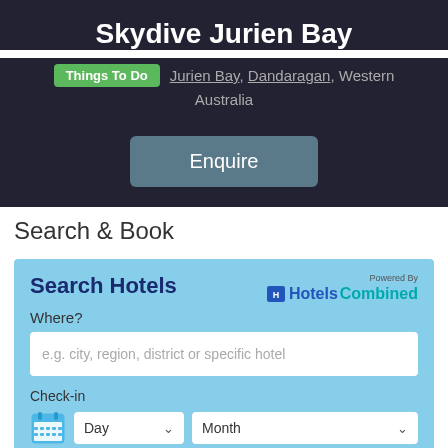Skydive Jurien Bay
Things To Do · Jurien Bay, Dandaragan, Western Australia
Enquire
Search & Book
Search Hotels
Where?
e.g. city, region, district or specific hotel
Check-in
Day ▼   Month ▼
Check-out
Day ▼   Month ▼